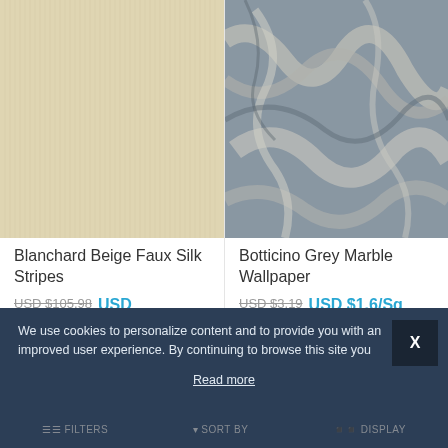[Figure (photo): Beige faux silk striped wallpaper texture]
[Figure (photo): Grey marble wallpaper texture with white veining]
Blanchard Beige Faux Silk Stripes
Botticino Grey Marble Wallpaper
USD $105.98  USD $39.99
USD $3.19  USD $1.6/Sq Ft
We use cookies to personalize content and to provide you with an improved user experience. By continuing to browse this site you  Read more